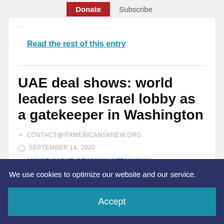Donate  Subscribe
Read the rest of this entry
UAE deal shows: world leaders see Israel lobby as a gatekeeper in Washington
CONTACT@IFAMERICANSKNEW.ORG
SEPTEMBER 14, 2020
ANWAR SADAT, BENJAMIN NETANYAHU
We use cookies to optimize our website and our service.
Accept